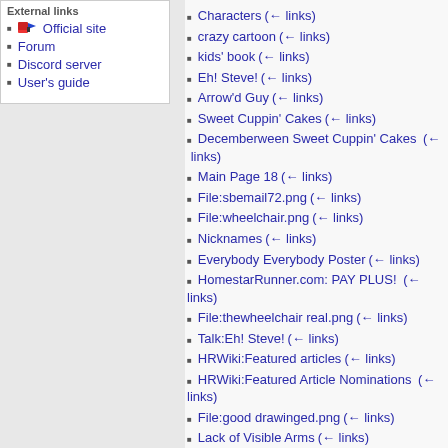Official site
Forum
Discord server
User's guide
Characters (← links)
crazy cartoon (← links)
kids' book (← links)
Eh! Steve! (← links)
Arrow'd Guy (← links)
Sweet Cuppin' Cakes (← links)
Decemberween Sweet Cuppin' Cakes (← links)
Main Page 18 (← links)
File:sbemail72.png (← links)
File:wheelchair.png (← links)
Nicknames (← links)
Everybody Everybody Poster (← links)
HomestarRunner.com: PAY PLUS! (← links)
File:thewheelchair real.png (← links)
Talk:Eh! Steve! (← links)
HRWiki:Featured articles (← links)
HRWiki:Featured Article Nominations (← links)
File:good drawinged.png (← links)
Lack of Visible Arms (← links)
Talk:Lack of Visible Arms (← links)